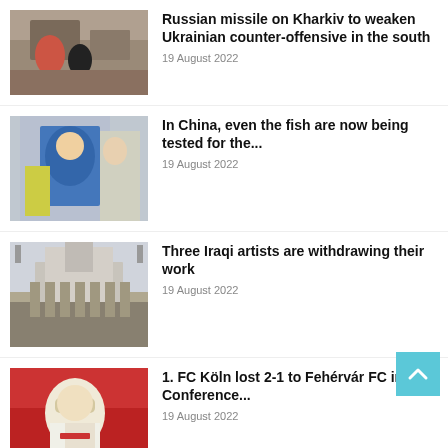[Figure (photo): People among rubble, destruction scene]
Russian missile on Kharkiv to weaken Ukrainian counter-offensive in the south
19 August 2022
[Figure (photo): Person in blue protective suit/hazmat gear outdoors]
In China, even the fish are now being tested for the...
19 August 2022
[Figure (photo): Large classical building with tower]
Three Iraqi artists are withdrawing their work
19 August 2022
[Figure (photo): Man in white jacket holding head, sports/football context]
1. FC Köln lost 2-1 to Fehérvár FC in the Conference...
19 August 2022
[Figure (photo): Partial photo at bottom, cut off]